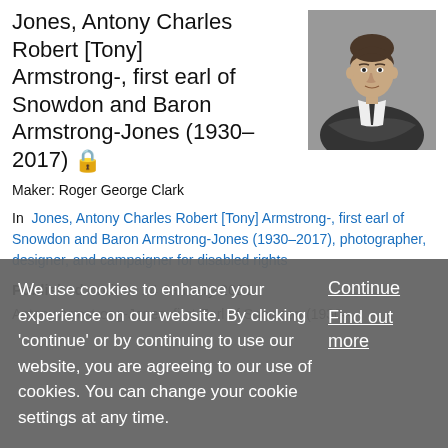Jones, Antony Charles Robert [Tony] Armstrong-, first earl of Snowdon and Baron Armstrong-Jones (1930–2017)
[Figure (photo): Black and white portrait photograph of Antony Armstrong-Jones, a man with dark hair wearing a suit, arms crossed, looking at the camera.]
Maker: Roger George Clark
In  Jones, Antony Charles Robert [Tony] Armstrong-, first earl of Snowdon and Baron Armstrong-Jones (1930–2017), photographer, designer, and campaigner for disabled rights
Published online: 14 January 2021
Antony Armstrong-Jones, first Earl of Snowdon (1930–
We use cookies to enhance your experience on our website. By clicking 'continue' or by continuing to use our website, you are agreeing to our use of cookies. You can change your cookie settings at any time.
Continue  Find out more